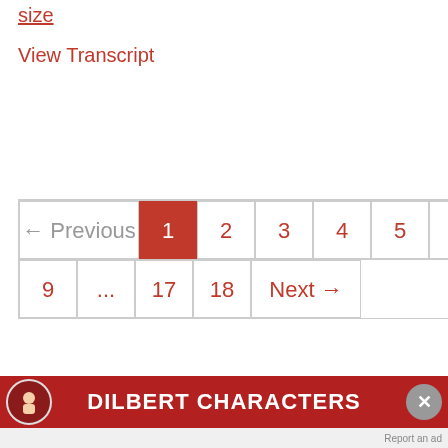size
View Transcript
[Figure (screenshot): Pagination component showing page navigation with Previous, pages 1-9, ..., 17, 18, Next buttons. Page 1 is active (highlighted in red).]
[Figure (infographic): Dilbert Characters banner advertisement with red background and white bold text reading DILBERT CHARACTERS, with a character icon on the left and close button on right.]
[Figure (screenshot): Advertisement banner: Hulu, Disney+, ESPN+ GET THE DISNEY BUNDLE. Report an ad button visible. Character images for Dilbert and Asok partially visible at edges.]